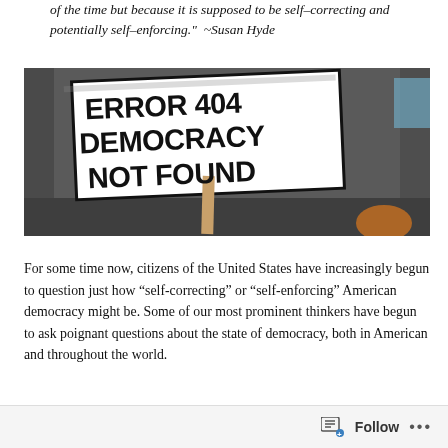of the time but because it is supposed to be self-correcting and potentially self-enforcing." ~Susan Hyde
[Figure (photo): Protest sign reading 'ERROR 404 DEMOCRACY NOT FOUND' on a stick, lying on cobblestones, photographed at a street protest.]
For some time now, citizens of the United States have increasingly begun to question just how “self-correcting” or “self-enforcing” American democracy might be. Some of our most prominent thinkers have begun to ask poignant questions about the state of democracy, both in American and throughout the world.
Follow